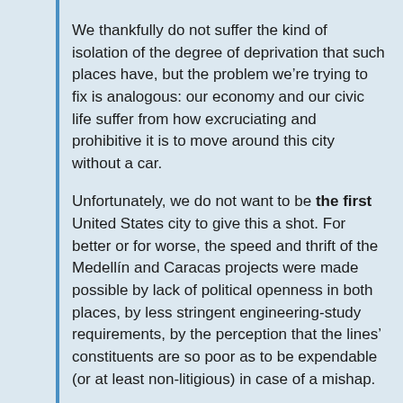We thankfully do not suffer the kind of isolation of the degree of deprivation that such places have, but the problem we’re trying to fix is analogous: our economy and our civic life suffer from how excruciating and prohibitive it is to move around this city without a car.
Unfortunately, we do not want to be the first United States city to give this a shot. For better or for worse, the speed and thrift of the Medellín and Caracas projects were made possible by lack of political openness in both places, by less stringent engineering-study requirements, by the perception that the lines’ constituents are so poor as to be expendable (or at least non-litigious) in case of a mishap.